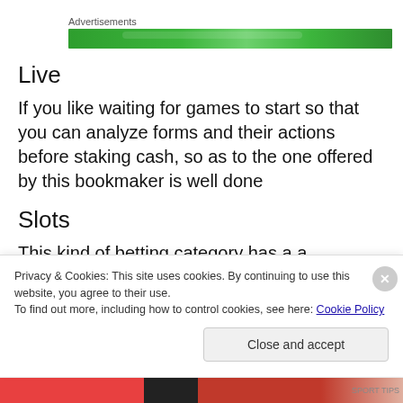Advertisements
[Figure (other): Green advertisement banner]
Live
If you like waiting for games to start so that you can analyze forms and their actions before staking cash, so as to the one offered by this bookmaker is well done
Slots
This kind of betting category has a a comprehensive
Privacy & Cookies: This site uses cookies. By continuing to use this website, you agree to their use.
To find out more, including how to control cookies, see here: Cookie Policy
Close and accept